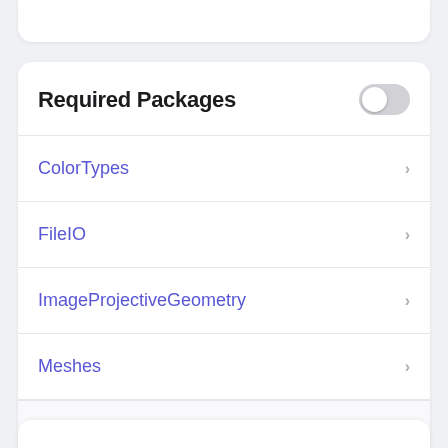Required Packages
ColorTypes
FileIO
ImageProjectiveGeometry
Meshes
View all packages